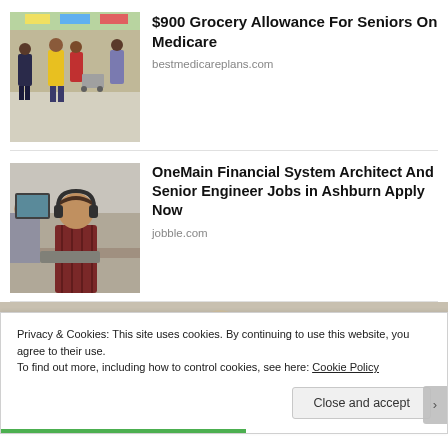[Figure (photo): Grocery store aisle with shoppers, colorful signs overhead]
$900 Grocery Allowance For Seniors On Medicare
bestmedicareplans.com
[Figure (photo): Office workers at desks with computers, man wearing headphones in foreground]
OneMain Financial System Architect And Senior Engineer Jobs in Ashburn Apply Now
jobble.com
[Figure (photo): Partial background image, partially obscured by cookie banner]
Privacy & Cookies: This site uses cookies. By continuing to use this website, you agree to their use.
To find out more, including how to control cookies, see here: Cookie Policy
Close and accept